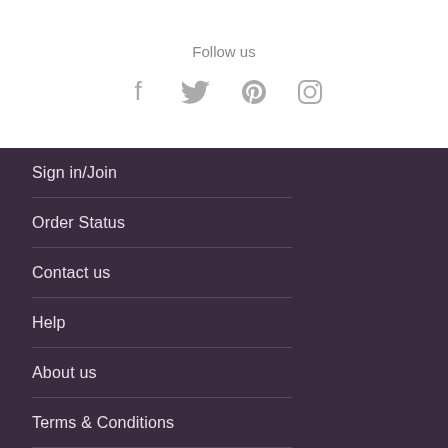Follow us
[Figure (illustration): Four social media icons: Facebook, Twitter, Pinterest, Instagram in grey]
Sign in/Join
Order Status
Contact us
Help
About us
Terms & Conditions
Privacy policy
Cookies
We accept these payment methods